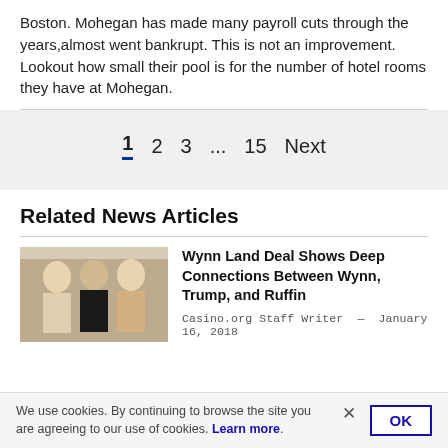Boston. Mohegan has made many payroll cuts through the years,almost went bankrupt. This is not an improvement. Lookout how small their pool is for the number of hotel rooms they have at Mohegan.
1  2  3  ...  15  Next
Related News Articles
Wynn Land Deal Shows Deep Connections Between Wynn, Trump, and Ruffin
Casino.org Staff Writer — January 16, 2018
We use cookies. By continuing to browse the site you are agreeing to our use of cookies. Learn more.